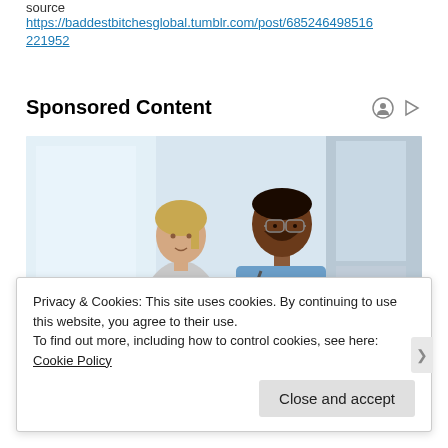source
https://baddestbitchesglobal.tumblr.com/post/685246498516221952
Sponsored Content
[Figure (photo): A male doctor in blue scrubs with a stethoscope examining or working with a young female patient in a bright medical setting]
Privacy & Cookies: This site uses cookies. By continuing to use this website, you agree to their use.
To find out more, including how to control cookies, see here: Cookie Policy
Close and accept